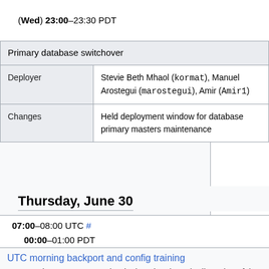(Wed) 23:00–23:30 PDT
| Primary database switchover |
| Deployer | Stevie Beth Mhaol (kormat), Manuel Arostegui (marostegui), Amir (Amir1) |
| Changes | Held deployment window for database primary masters maintenance |
Thursday, June 30
07:00–08:00 UTC # 00:00–01:00 PDT
| UTC morning backport and config training | Your patch may or may not be deployed at the sole discretion of the deployer |